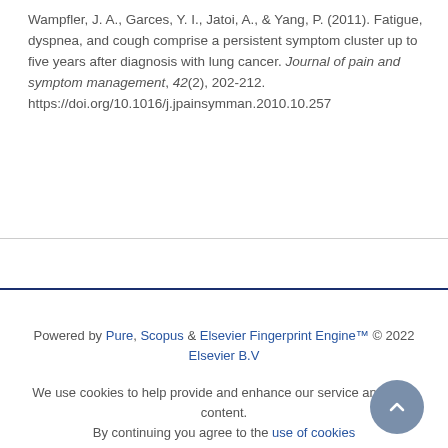Wampfler, J. A., Garces, Y. I., Jatoi, A., & Yang, P. (2011). Fatigue, dyspnea, and cough comprise a persistent symptom cluster up to five years after diagnosis with lung cancer. Journal of pain and symptom management, 42(2), 202-212. https://doi.org/10.1016/j.jpainsymman.2010.10.257
Powered by Pure, Scopus & Elsevier Fingerprint Engine™ © 2022 Elsevier B.V
We use cookies to help provide and enhance our service and tailor content. By continuing you agree to the use of cookies
Log in to Pure
About web accessibility
Contact us